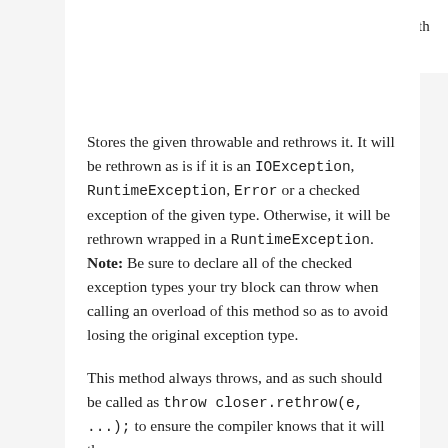th
Stores the given throwable and rethrows it. It will be rethrown as is if it is an IOException, RuntimeException, Error or a checked exception of the given type. Otherwise, it will be rethrown wrapped in a RuntimeException. Note: Be sure to declare all of the checked exception types your try block can throw when calling an overload of this method so as to avoid losing the original exception type.
This method always throws, and as such should be called as throw closer.rethrow(e, ...); to ensure the compiler knows that it will throw.
Returns:
this method does not return; it always throws
Throws:
IOException - when the given throwable is